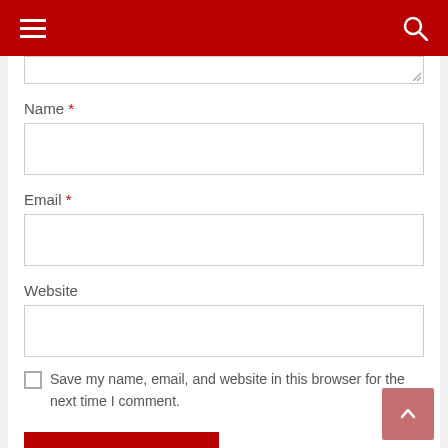Navigation bar with hamburger menu and search icon
Name *
[Figure (screenshot): Empty text input field for Name]
Email *
[Figure (screenshot): Empty text input field for Email]
Website
[Figure (screenshot): Empty text input field for Website]
Save my name, email, and website in this browser for the next time I comment.
[Figure (screenshot): Red submit button at the bottom]